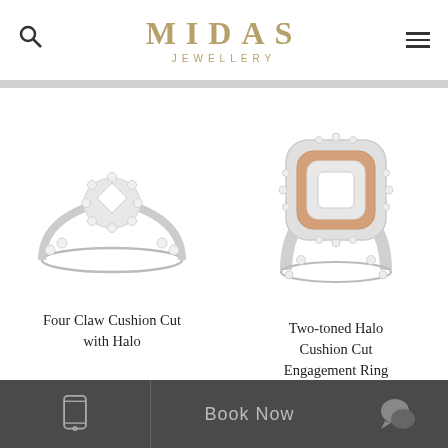MIDAS JEWELLERY
[Figure (photo): Four Claw Cushion Cut with Halo diamond engagement ring on white background]
Four Claw Cushion Cut with Halo
[Figure (photo): Two-toned Halo Cushion Cut Engagement Ring with white and rose gold diamond halo on white background]
Two-toned Halo Cushion Cut Engagement Ring
Book Now